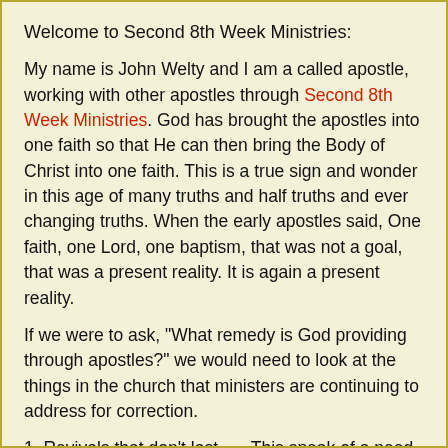Welcome to Second 8th Week Ministries:
My name is John Welty and I am a called apostle, working with other apostles through Second 8th Week Ministries. God has brought the apostles into one faith so that He can then bring the Body of Christ into one faith. This is a true sign and wonder in this age of many truths and half truths and ever changing truths. When the early apostles said, One faith, one Lord, one baptism, that was not a goal, that was a present reality. It is again a present reality.
If we were to ask, "What remedy is God providing through apostles?" we would need to look at the things in the church that ministers are continuing to address for correction.
1. Revivals that don't last ---- This speak of a need to amend how we view Christian growth. Ministers look for revival as a means of removing the thinking of the world from the church, to bring back a renewing of the Holy Ghost. While some false apostles look for a Joseph anointing to break the mind set; true apostles will bring the anointing of truth to each individual Christian. True Apostolic Remedy then provides